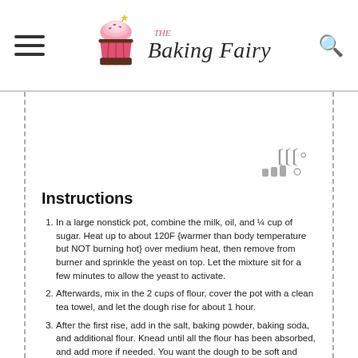The Baking Fairy
[Figure (illustration): Placeholder/ad image area with Mediavine logo icon in gray]
Instructions
In a large nonstick pot, combine the milk, oil, and ¼ cup of sugar. Heat up to about 120F {warmer than body temperature but NOT burning hot} over medium heat, then remove from burner and sprinkle the yeast on top. Let the mixture sit for a few minutes to allow the yeast to activate.
Afterwards, mix in the 2 cups of flour, cover the pot with a clean tea towel, and let the dough rise for about 1 hour.
After the first rise, add in the salt, baking powder, baking soda, and additional flour. Knead until all the flour has been absorbed, and add more if needed. You want the dough to be soft and smooth but not too sticky! Using a sharp knife, cut an X on top of your dough {this helps it rise }, cover with a tea towel again, and let rise for an additional 3+ hours. You can let it rise overnight at this point, or you can also wait until the next step!
While the dough rises, prepare the caramel. In a small nonstick pot over medium-high, combine the butter, brown